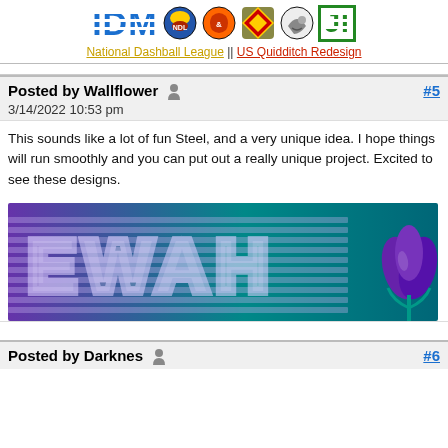[Figure (logo): IDM text logo with colorful sports team icons and JI logo]
National Dashball League || US Quidditch Redesign
Posted by Wallflower  #5
3/14/2022 10:53 pm
This sounds like a lot of fun Steel, and a very unique idea. I hope things will run smoothly and you can put out a really unique project. Excited to see these designs.
[Figure (illustration): EWAH banner with teal to purple gradient background, striped text letters spelling EWAH, and a purple floral/iris logo on the right]
Posted by Darknes  #6